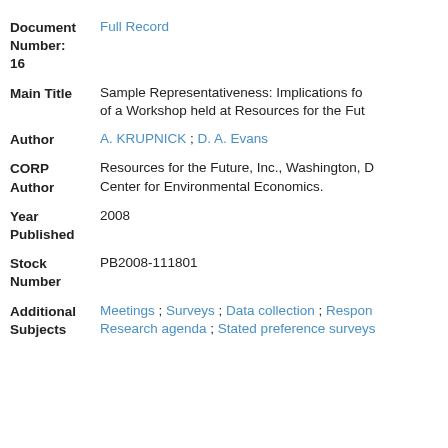Document Number: 16 | Full Record
Main Title: Sample Representativeness: Implications fo of a Workshop held at Resources for the Fut
Author: A. KRUPNICK ; D. A. Evans
CORP Author: Resources for the Future, Inc., Washington, D Center for Environmental Economics.
Year Published: 2008
Stock Number: PB2008-111801
Additional Subjects: Meetings ; Surveys ; Data collection ; Respon Research agenda ; Stated preference surveys